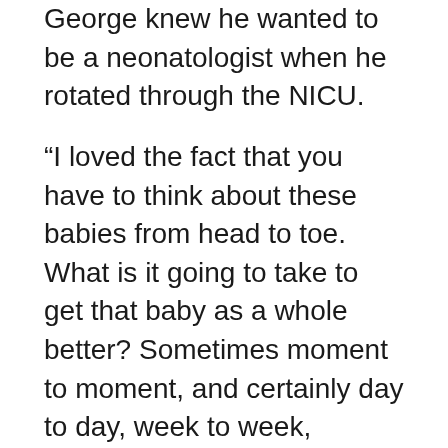George knew he wanted to be a neonatologist when he rotated through the NICU.
“I loved the fact that you have to think about these babies from head to toe. What is it going to take to get that baby as a whole better? Sometimes moment to moment, and certainly day to day, week to week, sometimes month to month,” Dr. George describes. “I love that we care for babies in their entirety, thinking about so many aspects of their care including their nutrition, their breathing, their heart, their growth and their development. It’s also not just